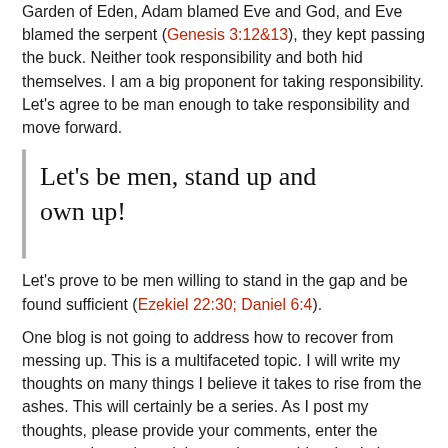Garden of Eden, Adam blamed Eve and God, and Eve blamed the serpent (Genesis 3:12&13), they kept passing the buck. Neither took responsibility and both hid themselves. I am a big proponent for taking responsibility. Let's agree to be man enough to take responsibility and move forward.
Let's be men, stand up and own up!
Let's prove to be men willing to stand in the gap and be found sufficient (Ezekiel 22:30; Daniel 6:4).
One blog is not going to address how to recover from messing up. This is a multifaceted topic. I will write my thoughts on many things I believe it takes to rise from the ashes. This will certainly be a series. As I post my thoughts, please provide your comments, enter the conversation to keep it interesting, provide stimulating